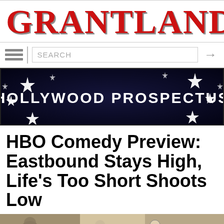GRANTLAND
SEARCH
[Figure (photo): Hollywood Prospectus banner image with star lights and text 'HOLLYWOOD PROSPECTUS']
HBO Comedy Preview: Eastbound Stays High, Life's Too Short Shoots Low
[Figure (photo): Bottom portion of article image showing people in a room]